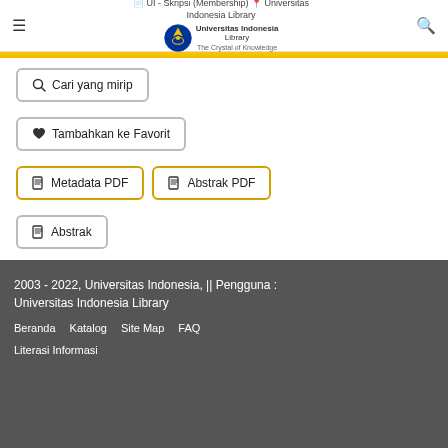UI - Skripsi (Membership) - Universitas Indonesia Library
Cari yang mirip
Tambahkan ke Favorit
Metadata PDF
Abstrak PDF
Abstrak
[Figure (other): Pagination navigation with page buttons: <<, 1, 2, 3 (active/highlighted), 4, 5, 6 on first row and 7, 8, 9, 10, >> on second row]
2003 - 2022, Universitas Indonesia, || Pengguna : Universitas Indonesia Library
Beranda    Katalog    Site Map    FAQ
Literasi Informasi